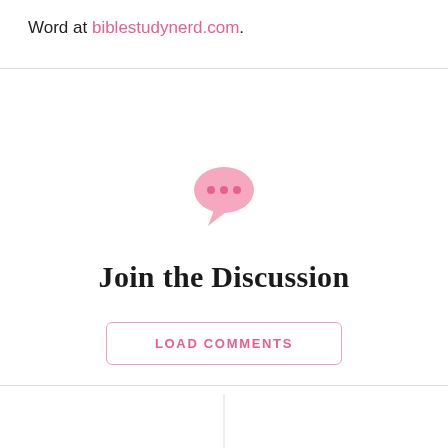Word at biblestudynerd.com.
[Figure (illustration): Pink speech bubble icon with three dots (ellipsis) inside, indicating a comment or discussion.]
Join the Discussion
LOAD COMMENTS